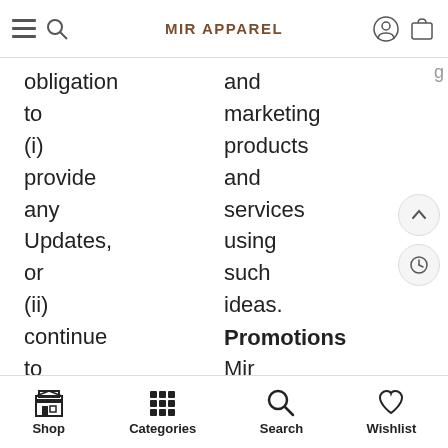MIR APPAREL
obligation to (i) provide any Updates, or (ii) continue to provide or enable any
and marketing products and services using such ideas.
Promotions
Mir Apparel may, from
Shop  Categories  Search  Wishlist